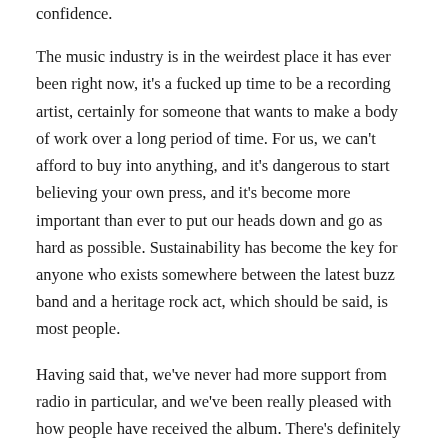confidence.
The music industry is in the weirdest place it has ever been right now, it’s a fucked up time to be a recording artist, certainly for someone that wants to make a body of work over a long period of time. For us, we can’t afford to buy into anything, and it’s dangerous to start believing your own press, and it’s become more important than ever to put our heads down and go as hard as possible. Sustainability has become the key for anyone who exists somewhere between the latest buzz band and a heritage rock act, which should be said, is most people.
Having said that, we’ve never had more support from radio in particular, and we’ve been really pleased with how people have received the album. There’s definitely nothing wrong with positive energy surrounding what you do and it’s certainly welcome.
What music has the band been listening to post the making of the record? Or maybe you haven’t had time?
I find I tend to listen to music mainly between periods of writing and recording, so a good question. There are a few constants of course, but